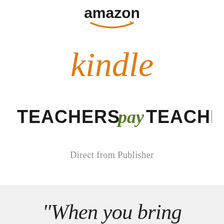[Figure (logo): Amazon logo with arrow smile, dark text on white background]
[Figure (logo): Kindle logo in orange italic serif font]
[Figure (logo): Teachers Pay Teachers logo: TEACHERS in bold black, pay in green italic, TEACHERS in bold black]
Direct from Publisher
“When you bring